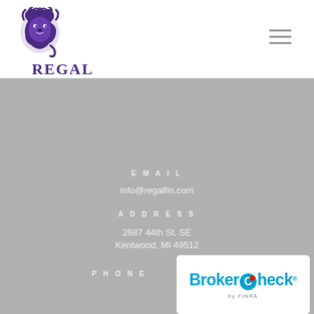[Figure (logo): Regal Financial Group logo with purple lion icon and company name]
[Figure (other): Hamburger menu icon (three horizontal lines) in top right of header]
EMAIL
info@regalfin.com
ADDRESS
2687 44th St. SE
Kentwood, MI 49512
PHONE
[Figure (logo): BrokerCheck by FINRA badge/logo in white rounded rectangle]